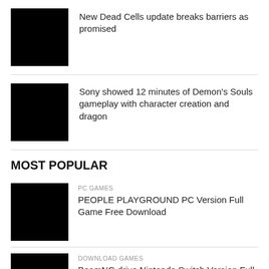[Figure (photo): Black thumbnail image for Dead Cells article]
New Dead Cells update breaks barriers as promised
[Figure (photo): Black thumbnail image for Demon's Souls article]
Sony showed 12 minutes of Demon's Souls gameplay with character creation and dragon
MOST POPULAR
[Figure (photo): Black thumbnail image for People Playground article]
PC GAMES
PEOPLE PLAYGROUND PC Version Full Game Free Download
[Figure (photo): Black thumbnail image for BeamNG drive article]
DOWNLOAD GAMES
BeamNG drive Nintendo Switch Version Full Game Setup 2021 Free Download